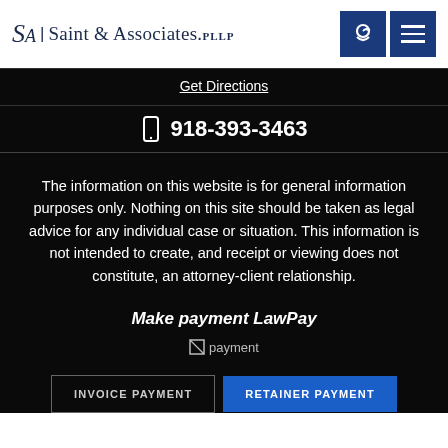Saint & Associates, PLLP
Get Directions
918-393-3463
The information on this website is for general information purposes only. Nothing on this site should be taken as legal advice for any individual case or situation. This information is not intended to create, and receipt or viewing does not constitute, an attorney-client relationship.
Make payment LawPay
[Figure (other): Payment logo image placeholder]
INVOICE PAYMENT
RETAINER PAYMENT